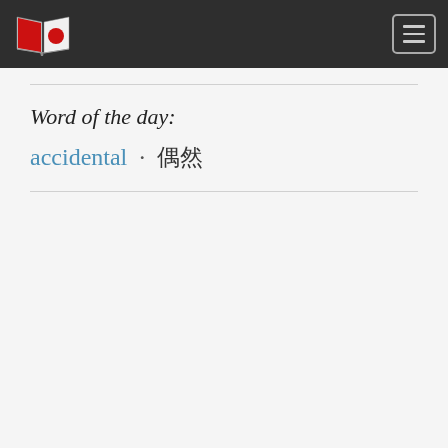[Figure (logo): Open book logo with red pages and red circle, white background, on dark header bar]
Word of the day:
accidental · 偶然